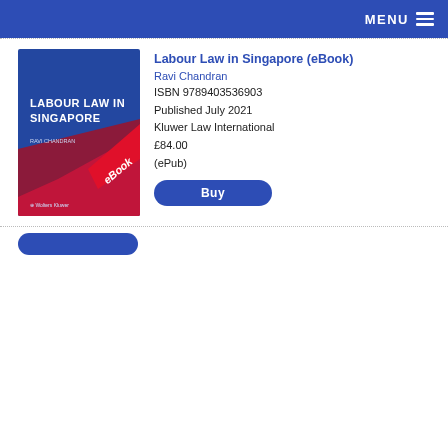MENU
[Figure (illustration): Book cover of 'Labour Law in Singapore' eBook, published by Wolters Kluwer, blue and dark red cover with eBook ribbon]
Labour Law in Singapore (eBook)
Ravi Chandran
ISBN 9789403536903
Published July 2021
Kluwer Law International
£84.00
(ePub)
Buy